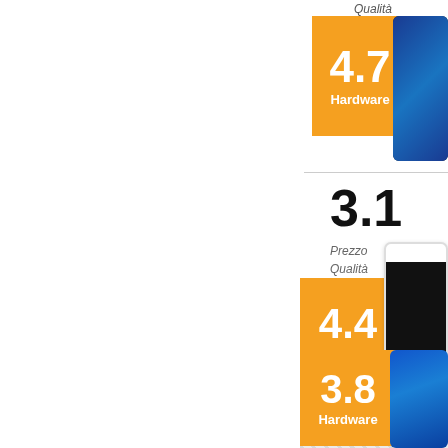Qualità
[Figure (infographic): Orange badge showing score 4.7 with label Hardware, next to a smartphone photo]
3.1
Prezzo Qualità
[Figure (infographic): Orange badge showing score 4.4 with label Hardware, next to a white smartphone photo]
Ordinare per:
[Figure (infographic): Orange badge showing score 3.8 with label Hardware, next to a blue smartphone photo]